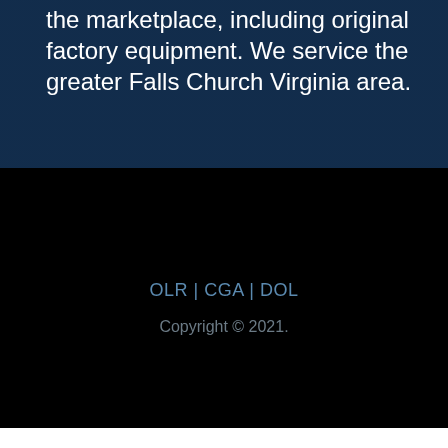the marketplace, including original factory equipment. We service the greater Falls Church Virginia area.
OLR | CGA | DOL
Copyright © 2021.